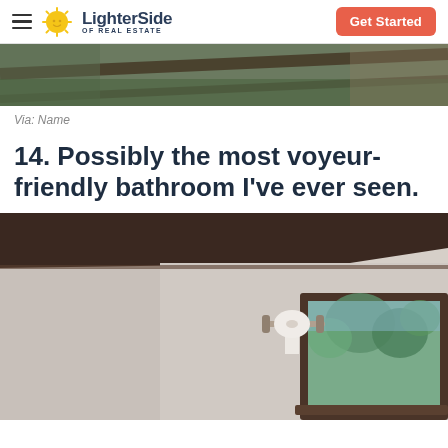LighterSide OF REAL ESTATE | Get Started
[Figure (photo): Partial view of an outdoor wooden structure or fence with greenery visible, cropped at top of page]
Via: Name
14. Possibly the most voyeur-friendly bathroom I've ever seen.
[Figure (photo): Interior bathroom photo showing a toilet paper holder mounted high on a pale wall near dark wood crown molding, with a large window framing trees outside]